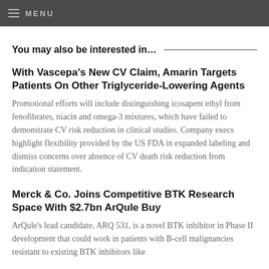MENU
You may also be interested in…
With Vascepa's New CV Claim, Amarin Targets Patients On Other Triglyceride-Lowering Agents
Promotional efforts will include distinguishing icosapent ethyl from fenofibrates, niacin and omega-3 mixtures, which have failed to demonstrate CV risk reduction in clinical studies. Company execs highlight flexibility provided by the US FDA in expanded labeling and dismiss concerns over absence of CV death risk reduction from indication statement.
Merck & Co. Joins Competitive BTK Research Space With $2.7bn ArQule Buy
ArQule's lead candidate, ARQ 531, is a novel BTK inhibitor in Phase II development that could work in patients with B-cell malignancies resistant to existing BTK inhibitors like